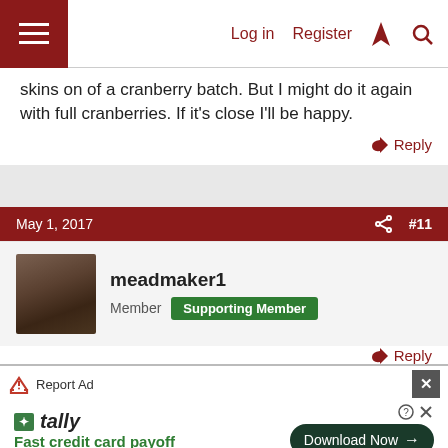Log in  Register
skins on of a cranberry batch. But I might do it again with full cranberries. If it's close I'll be happy.
Reply
May 1, 2017  #11
meadmaker1
Member  Supporting Member
Our local walmart has a cranberry juice concentrate that has apple juice in it. Iv sweetened with it Adds nice color too
Reply
Report Ad  Fast credit card payoff  Download Now